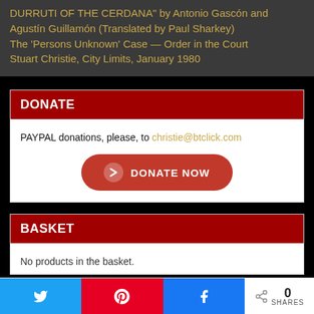DURRUTI OF THE CERDANA" by Antonio Gascón and Agustín Guillamón (Translated by Paul Sharkey)
The 'Persons Unknown' Case — Order in the Court
Stuart Christie, City Limits, January 1980
DONATE
PAYPAL donations, please, to christie@btclick.com
[Figure (other): Red rounded 'DONATE NOW' button with a right-pointing chevron arrow icon]
BASKET
No products in the basket.
Twitter share | Pinterest share | Facebook share | 0 SHARES